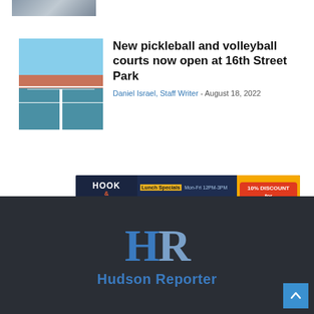[Figure (photo): Partial image at top of page, cropped — appears to show colorful athletic shoes or similar]
[Figure (photo): Outdoor pickleball/volleyball courts with players visible, blue and red court surface, sky background]
New pickleball and volleyball courts now open at 16th Street Park
Daniel Israel, Staff Writer - August 18, 2022
[Figure (other): Hook & Reel restaurant advertisement banner: Lunch Specials Mon-Fri 12PM-3PM, Live DJ Friday 7:30-10:30PM, Happy Hour Mon-Fri 4-7PM, 10% DISCOUNT for DINE-IN AND CARRY-OUT! Exp. 8/31 - one coupon per visit]
[Figure (logo): Hudson Reporter logo — large HR letters in blue on dark background with 'Hudson Reporter' text below]